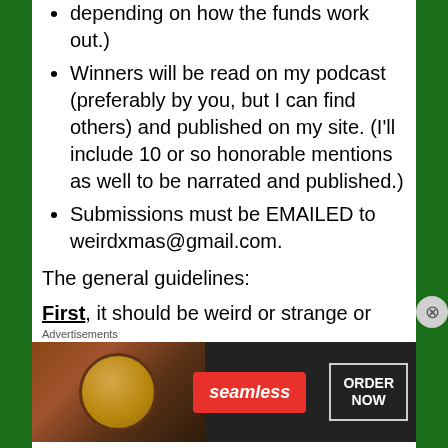depending on how the funds work out.)
Winners will be read on my podcast (preferably by you, but I can find others) and published on my site. (I'll include 10 or so honorable mentions as well to be narrated and published.)
Submissions must be EMAILED to weirdxmas@gmail.com.
The general guidelines:
First, it should be weird or strange or odd. It can be “Haha!” weird or “Oh, Jesus, no!” weird. It can be genre (sf, fantasy, horror/weird, bizarro, etc.)
[Figure (screenshot): Seamless food delivery advertisement banner with pizza image on left, red Seamless logo in center, and ORDER NOW button on right, on dark background]